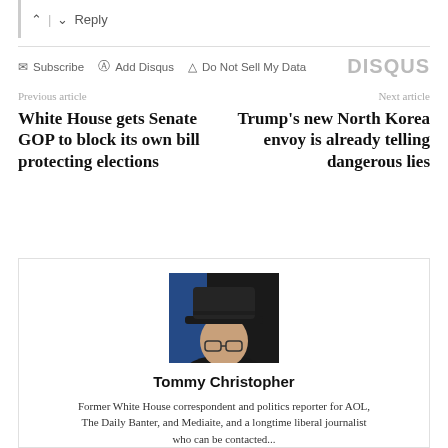^ | v Reply
Subscribe  Add Disqus  Do Not Sell My Data  DISQUS
Previous article
Next article
White House gets Senate GOP to block its own bill protecting elections
Trump's new North Korea envoy is already telling dangerous lies
[Figure (photo): Headshot of Tommy Christopher, a man wearing a dark fedora hat and glasses, against a blue-lit background]
Tommy Christopher
Former White House correspondent and politics reporter for AOL, The Daily Banter, and Mediaite, and a longtime liberal journalist